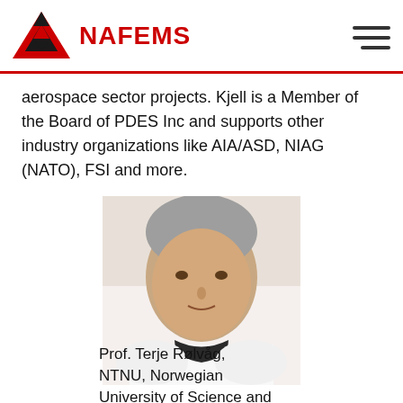NAFEMS
aerospace sector projects. Kjell is a Member of the Board of PDES Inc and supports other industry organizations like AIA/ASD, NIAG (NATO), FSI and more.
[Figure (photo): Headshot photo of Prof. Terje Rølvåg, a middle-aged man with grey hair, wearing a white shirt with dark collar detail, against a white background.]
Prof. Terje Rølvåg, NTNU, Norwegian University of Science and Technology